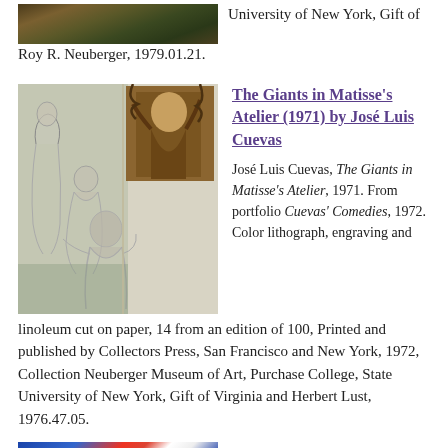[Figure (photo): Partial top image of a landscape or outdoor scene cropped at the top of the page]
University of New York, Gift of Roy R. Neuberger, 1979.01.21.
[Figure (illustration): Drawing/print of figures in an artist's studio, partially abstract with sketched human forms and a woodblock-style image in upper right]
The Giants in Matisse's Atelier (1971) by José Luis Cuevas
José Luis Cuevas, The Giants in Matisse's Atelier, 1971. From portfolio Cuevas' Comedies, 1972. Color lithograph, engraving and linoleum cut on paper, 14 from an edition of 100, Printed and published by Collectors Press, San Francisco and New York, 1972, Collection Neuberger Museum of Art, Purchase College, State University of New York, Gift of Virginia and Herbert Lust, 1976.47.05.
[Figure (photo): Partial bottom image with blue and red colors, cropped at the bottom of the page]